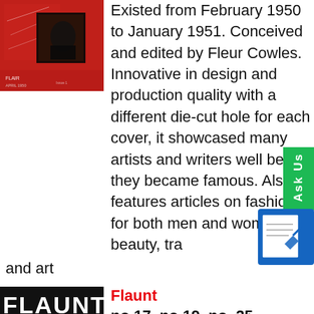[Figure (photo): Red cover of a magazine (Flair), with illustrated line drawing and dark photographic image, small text at bottom]
Existed from February 1950 to January 1951. Conceived and edited by Fleur Cowles. Innovative in design and production quality with a different die-cut hole for each cover, it showcased many artists and writers well before they became famous. Also features articles on fashion for both men and women, beauty, tra and art
[Figure (photo): Flaunt magazine cover featuring two people, one with orange hair, bold FLAUNT text at top]
Flaunt
no.17, no.19, no. 25-Current. 10x per year
An independent fashion and culture magazine that examines issues and ideas relating to art, fashion, film, music, media and literature
[Figure (photo): Four Two Nine magazine cover with a person in dark lighting, magazine title at top in white serif font]
Four Two Nine
September 2013-Fall 2017. 5x per year
Periodical that highlights an ambitious